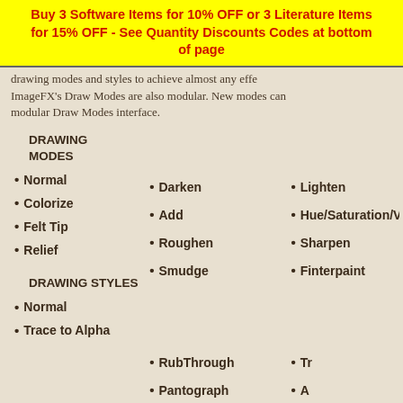Buy 3 Software Items for 10% OFF or 3 Literature Items for 15% OFF - See Quantity Discounts Codes at bottom of page
drawing modes and styles to achieve almost any effect. ImageFX's Draw Modes are also modular. New modes can modular Draw Modes interface.
DRAWING MODES
Normal
Colorize
Felt Tip
Relief
Darken
Add
Roughen
Smudge
Lighten
Hue/Saturation/Value
Sharpen
Finterpaint
DRAWING STYLES
Normal
Trace to Alpha
RubThrough
Pantograph
Tr
A